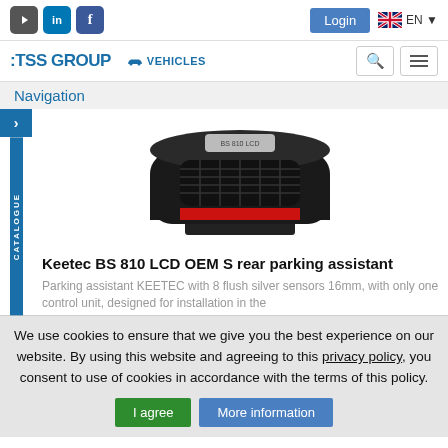TSS GROUP - VEHICLES | Login | EN
Navigation
[Figure (photo): Close-up of a parking sensor device (Keetec BS 810 LCD OEM S), showing a black housing with sensor array and red trim]
Keetec BS 810 LCD OEM S rear parking assistant
Parking assistant KEETEC with 8 flush silver sensors 16mm, with only one control unit, designed for installation in the
We use cookies to ensure that we give you the best experience on our website. By using this website and agreeing to this privacy policy, you consent to use of cookies in accordance with the terms of this policy.
I agree | More information